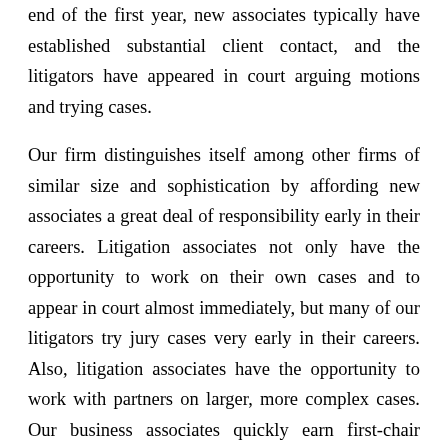end of the first year, new associates typically have established substantial client contact, and the litigators have appeared in court arguing motions and trying cases.
Our firm distinguishes itself among other firms of similar size and sophistication by affording new associates a great deal of responsibility early in their careers. Litigation associates not only have the opportunity to work on their own cases and to appear in court almost immediately, but many of our litigators try jury cases very early in their careers. Also, litigation associates have the opportunity to work with partners on larger, more complex cases. Our business associates quickly earn first-chair responsibility in transactions. Direct client contact is encouraged and promoted, and our partners work with our associates to develop a specialty and career path. Because of the scope of